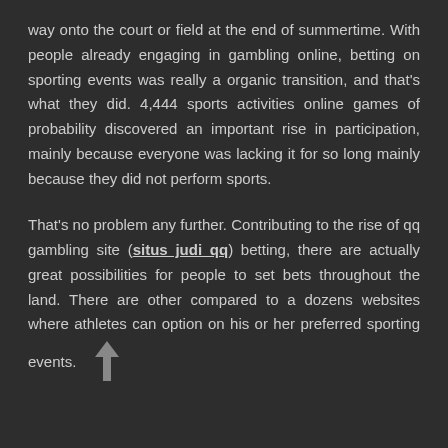way onto the court or field at the end of summertime. With people already engaging in gambling online, betting on sporting events was really a organic transition, and that's what they did. 4,444 sports activities online games of probability discovered an important rise in participation, mainly because everyone was lacking it for so long mainly because they did not perform sports.
That's no problem any further. Contributing to the rise of qq gambling site (situs judi qq) betting, there are actually great possibilities for people to set bets throughout the land. There are other compared to a dozens websites where athletes can option on his or her preferred sporting events.